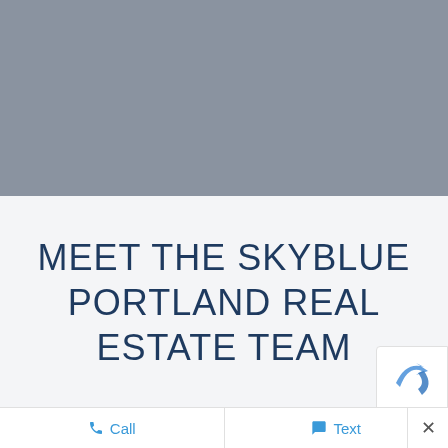[Figure (photo): Gray placeholder image area at the top of the page, representing a banner or header photo placeholder with solid gray (#8a93a0) background.]
MEET THE SKYBLUE PORTLAND REAL ESTATE TEAM
[Figure (other): Partial reCAPTCHA logo visible in the lower-right corner of the content area, showing a blue arrow icon.]
Call   Text   ×